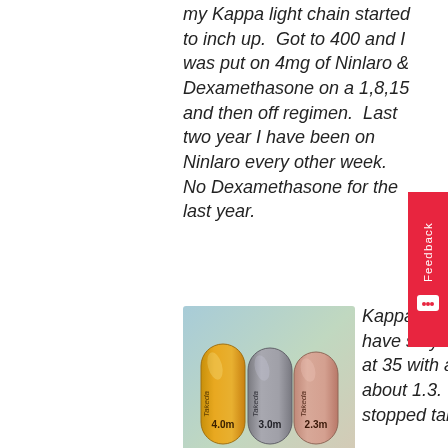my Kappa light chain started to inch up.  Got to 400 and I was put on 4mg of Ninlaro & Dexamethasone on a 1,8,15 and then off regimen.  Last two year I have been on Ninlaro every other week.  No Dexamethasone for the last year.
[Figure (photo): Three Takeda pharmaceutical capsules side by side: yellow (4.0mg), gray (3.0mg), and pink (2.3mg), labeled with 'Takeda' branding.]
Kappa numbers have stayed steady at 35 with a ratio of about 1.3.  I just stopped taking the Ninlaro to see if my numbers go up or maintain.  My other concern is my kidney function.  My kidney